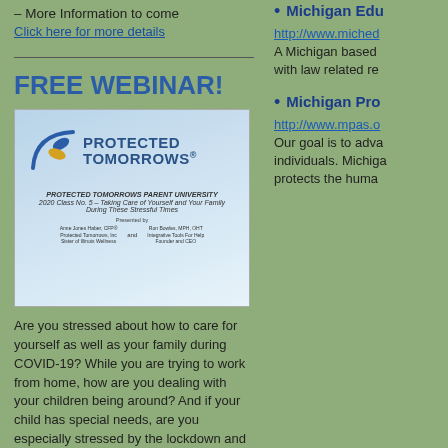– More Information to come
Click here for more details
FREE WEBINAR!
[Figure (illustration): Protected Tomorrows Parent University 2020 Class No. 5 – Taking Care of Yourself and Your Family During These Stressful Times webinar promotional image with logo.]
Are you stressed about how to care for yourself as well as your family during COVID-19? While you are trying to work from home, how are you dealing with your children being around? And if your child has special needs, are you especially stressed by the lockdown and change in routine? A distinguished expert
Michigan Edu… http://www.miched… A Michigan based … with law related re…
Michigan Pro… http://www.mpas.o… Our goal is to adva… individuals. Michiga… protects the huma…